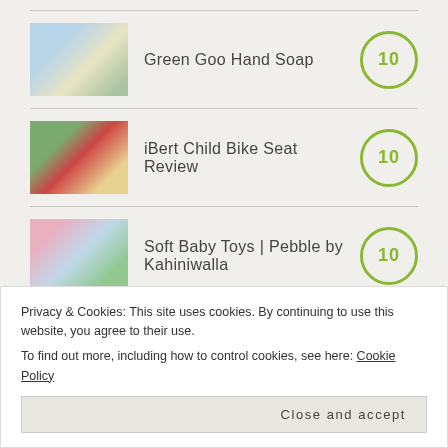Green Goo Hand Soap — score: 10
iBert Child Bike Seat Review — score: 10
Soft Baby Toys | Pebble by Kahiniwalla — score: 10
Privacy & Cookies: This site uses cookies. By continuing to use this website, you agree to their use. To find out more, including how to control cookies, see here: Cookie Policy
Dr. Squatch Soaps - Scents men